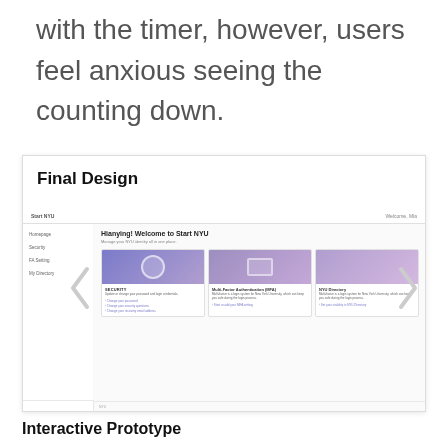with the timer, however, users feel anxious seeing the counting down.
[Figure (screenshot): Screenshot of a Final Design mockup showing an NYU portal interface with sidebar navigation items (Homepage, Security, FA Setting, My Directory), a main content area with 'Hianying! Welcome to Start NYU' heading, and three cards: SECURITY, Multi-Factor Authentication (MFA), and NYU Directory, with left/right carousel arrows.]
Interactive Prototype